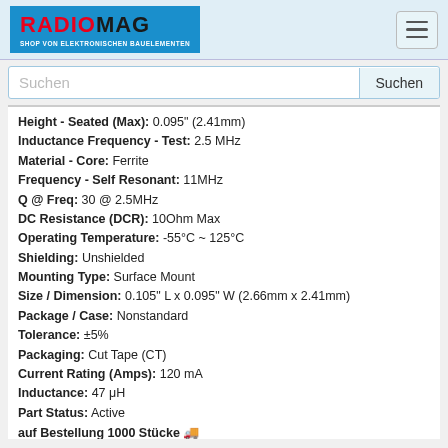RADIOMAG - SHOP VON ELEKTRONISCHEN BAUELEMENTEN
Suchen
Height - Seated (Max): 0.095" (2.41mm)
Inductance Frequency - Test: 2.5 MHz
Material - Core: Ferrite
Frequency - Self Resonant: 11MHz
Q @ Freq: 30 @ 2.5MHz
DC Resistance (DCR): 10Ohm Max
Operating Temperature: -55°C ~ 125°C
Shielding: Unshielded
Mounting Type: Surface Mount
Size / Dimension: 0.105" L x 0.095" W (2.66mm x 2.41mm)
Package / Case: Nonstandard
Tolerance: ±5%
Packaging: Cut Tape (CT)
Current Rating (Amps): 120 mA
Inductance: 47 μH
Part Status: Active
auf Bestellung 1000 Stücke 🚚
Lieferzeit 21-28 Tag (e)
auf Bestellung 1452 Stücke - Preis und Lieferfrist anzeigen
2+   14.17 EUR
10+  13 EUR
25+  11.82 EUR